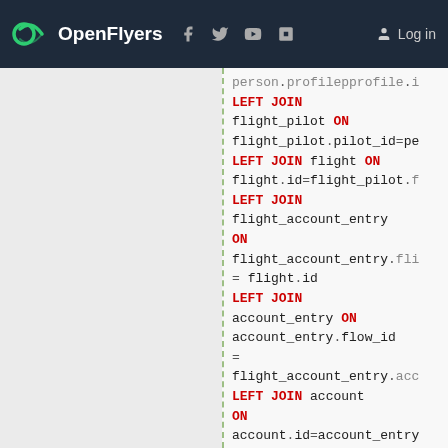OpenFlyers | Log in
[Figure (screenshot): SQL code block showing LEFT JOIN statements with flight_pilot, flight, flight_account_entry, account_entry, account tables, and WHERE clause filtering by $startDate and $endDate with IF condition on $occupiedSeat]
person.profilepprofile.i
LEFT JOIN
flight_pilot ON
flight_pilot.pilot_id=pe
LEFT JOIN flight ON
flight.id=flight_pilot.f
LEFT JOIN
flight_account_entry
ON
flight_account_entry.fli
= flight.id
LEFT JOIN
account_entry ON
account_entry.flow_id
=
flight_account_entry.acc
LEFT JOIN account
ON
account.id=account_entry
WHERE '$startDate'
<=
flight.start_date
AND
flight.start_date
<= '$endDate'
AND
(IF((('$occupiedSeat'=0